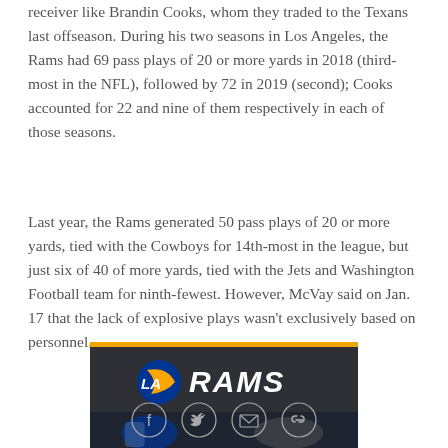receiver like Brandin Cooks, whom they traded to the Texans last offseason. During his two seasons in Los Angeles, the Rams had 69 pass plays of 20 or more yards in 2018 (third-most in the NFL), followed by 72 in 2019 (second); Cooks accounted for 22 and nine of them respectively in each of those seasons.
Last year, the Rams generated 50 pass plays of 20 or more yards, tied with the Cowboys for 14th-most in the league, but just six of 40 of more yards, tied with the Jets and Washington Football team for ninth-fewest. However, McVay said on Jan. 17 that the lack of explosive plays wasn't exclusively based on personnel.
[Figure (other): LA Rams advertisement banner with gold top bar, dark background, LA Rams logo with blue and gold ram horn, and player image at bottom]